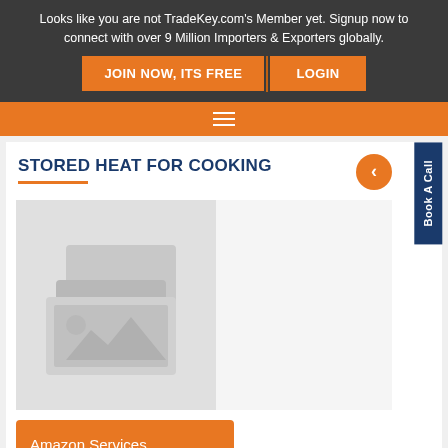Looks like you are not TradeKey.com's Member yet. Signup now to connect with over 9 Million Importers & Exporters globally.
JOIN NOW, ITS FREE | LOGIN
STORED HEAT FOR COOKING
[Figure (photo): Placeholder image with no-image icon (stacked grey rectangles with mountain/image symbol)]
Amazon Services
Model No: